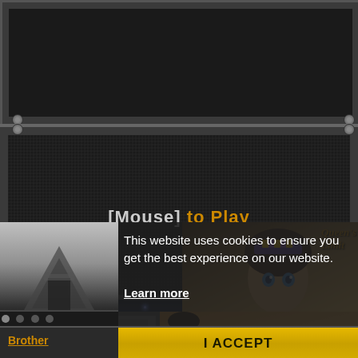[Figure (screenshot): Game interface screenshot showing a dark metal-framed display panel with dot-matrix background. Text reads '[Mouse] to Play' in gray and orange. Below is a starfield/space background.]
This website uses cookies to ensure you get the best experience on our website.
Learn more
Brother
I ACCEPT
[Figure (illustration): Anime-style character illustration with blue eyes, wearing a headdress with 'Queen's' text visible in orange]
Don't watch me.